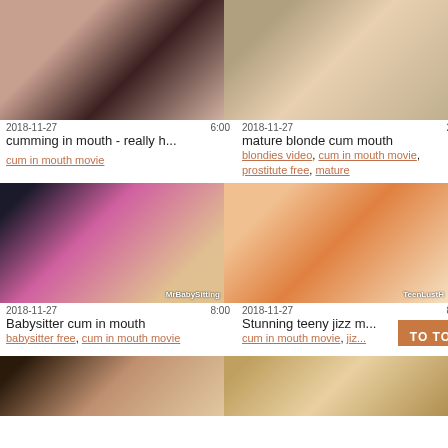[Figure (photo): Video thumbnail - dark haired woman]
2018-11-27	6:00
cumming in mouth - really h...
cum in mouth movie
[Figure (photo): Video thumbnail - blonde woman]
2018-11-27	2:00
mature blonde cum mouth
blondies video, cum in mouth movie, prostitute free, mature
[Figure (photo): Video thumbnail - MrBabySitting watermark]
2018-11-27	8:00
Babysitter cum in mouth
babysitter free, cum in mouth movie
[Figure (photo): Video thumbnail - TeenLustH watermark]
2018-11-27	8:00
Stunning teeny jizz m...
cum in mouth movie, jiz...
[Figure (photo): Video thumbnail bottom left]
[Figure (photo): Video thumbnail bottom right]